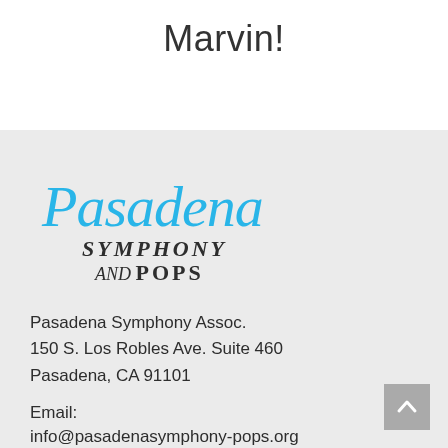Marvin!
[Figure (logo): Pasadena Symphony and Pops logo — cursive 'Pasadena' in blue above bold 'SYMPHONY AND POPS' in dark text]
Pasadena Symphony Assoc.
150 S. Los Robles Ave. Suite 460
Pasadena, CA 91101
Email:
info@pasadenasymphony-pops.org
Tel: 626.793.7172